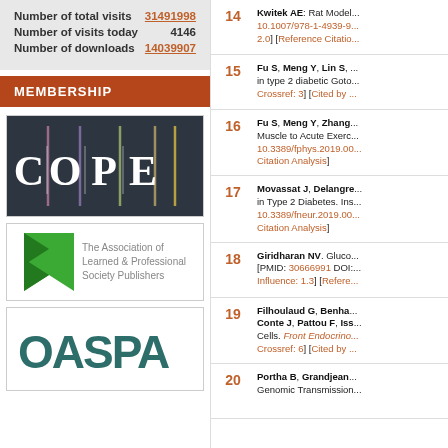| Metric | Value |
| --- | --- |
| Number of total visits | 31491998 |
| Number of visits today | 4146 |
| Number of downloads | 14039907 |
MEMBERSHIP
[Figure (logo): COPE logo - Committee on Publication Ethics]
[Figure (logo): The Association of Learned & Professional Society Publishers logo]
[Figure (logo): OASPA logo]
14 Kwitek AE: Rat Model... 10.1007/978-1-4939-9... 2.0] [Reference Citation...
15 Fu S, Meng Y, Lin S, ... in type 2 diabetic Goto... Crossref: 3] [Cited by ...
16 Fu S, Meng Y, Zhang... Muscle to Acute Exerc... 10.3389/fphys.2019.00... Citation Analysis]
17 Movassat J, Delangre... in Type 2 Diabetes. Ins... 10.3389/fneur.2019.00... Citation Analysis]
18 Giridharan NV. Gluco... [PMID: 30666991 DOI:... Influence: 1.3] [Refere...
19 Filhoulaud G, Benha... Conte J, Pattou F, Iss... Cells. Front Endocrino... Crossref: 6] [Cited by ...
20 Portha B, Grandjean... Genomic Transmission...